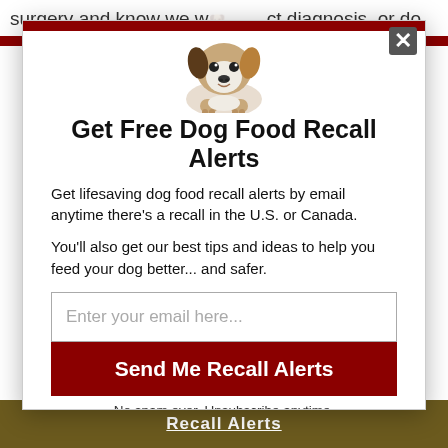surgery and know we w… …ct diagnosis, or do
[Figure (photo): Puppy (Jack Russell Terrier) peeking over a white surface, looking at camera]
Get Free Dog Food Recall Alerts
Get lifesaving dog food recall alerts by email anytime there's a recall in the U.S. or Canada.
You'll also get our best tips and ideas to help you feed your dog better... and safer.
Enter your email here...
Send Me Recall Alerts
No spam ever. Unsubscribe anytime.
Recall Alerts